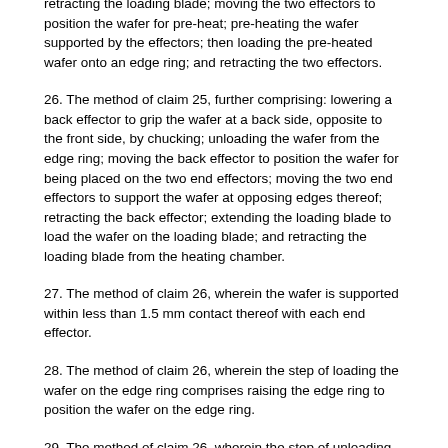retracting the loading blade; moving the two effectors to position the wafer for pre-heat; pre-heating the wafer supported by the effectors; then loading the pre-heated wafer onto an edge ring; and retracting the two effectors.
26. The method of claim 25, further comprising: lowering a back effector to grip the wafer at a back side, opposite to the front side, by chucking; unloading the wafer from the edge ring; moving the back effector to position the wafer for being placed on the two end effectors; moving the two end effectors to support the wafer at opposing edges thereof; retracting the back effector; extending the loading blade to load the wafer on the loading blade; and retracting the loading blade from the heating chamber.
27. The method of claim 26, wherein the wafer is supported within less than 1.5 mm contact thereof with each end effector.
28. The method of claim 26, wherein the step of loading the wafer on the edge ring comprises raising the edge ring to position the wafer on the edge ring.
29. The method of claim 26, wherein the step of unloading the wafer from the edge ring comprises raising the edge ring to position the wafer for being placed on the two end effectors.